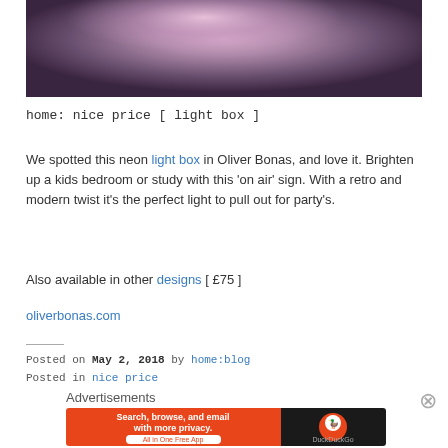[Figure (photo): A photograph with a dark background showing a glowing pinkish-purple light effect, likely a neon light box display.]
home: nice price [ light box ]
We spotted this neon light box in Oliver Bonas, and love it. Brighten up a kids bedroom or study with this ‘on air’ sign. With a retro and modern twist it’s the perfect light to pull out for party’s.
Also available in other designs [ £75 ]
oliverbonas.com
Posted on May 2, 2018 by home:blog
Posted in nice price
Advertisements
[Figure (screenshot): An advertisement banner for DuckDuckGo: orange background with text 'Search, browse, and email with more privacy. All in One Free App' and DuckDuckGo logo on dark background.]